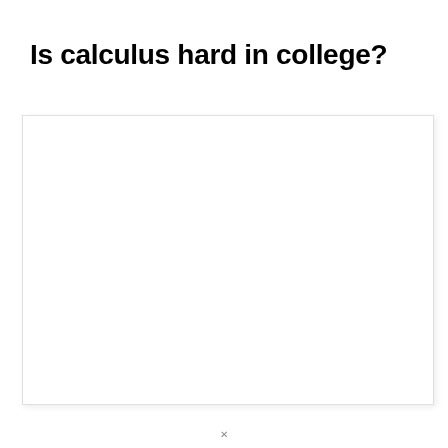Is calculus hard in college?
[Figure (other): Empty white card/box area below the title, with a light border and subtle drop shadow, likely a placeholder for content or an image.]